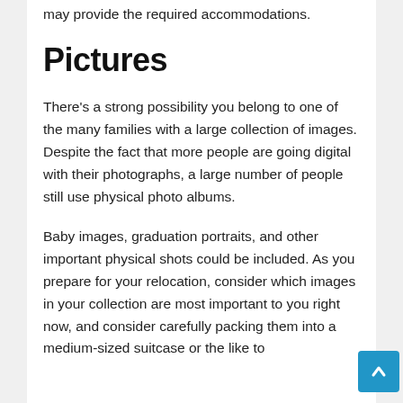may provide the required accommodations.
Pictures
There's a strong possibility you belong to one of the many families with a large collection of images. Despite the fact that more people are going digital with their photographs, a large number of people still use physical photo albums.
Baby images, graduation portraits, and other important physical shots could be included. As you prepare for your relocation, consider which images in your collection are most important to you right now, and consider carefully packing them into a medium-sized suitcase or the like to